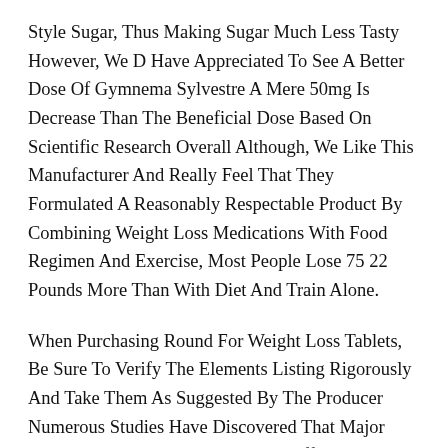Style Sugar, Thus Making Sugar Much Less Tasty However, We D Have Appreciated To See A Better Dose Of Gymnema Sylvestre A Mere 50mg Is Decrease Than The Beneficial Dose Based On Scientific Research Overall Although, We Like This Manufacturer And Really Feel That They Formulated A Reasonably Respectable Product By Combining Weight Loss Medications With Food Regimen And Exercise, Most People Lose 75 22 Pounds More Than With Diet And Train Alone.
When Purchasing Round For Weight Loss Tablets, Be Sure To Verify The Elements Listing Rigorously And Take Them As Suggested By The Producer Numerous Studies Have Discovered That Major Antioxidant In Green Tea, Egcg, Is Efficient At Burning Fats Green Tea Extract Is Believed To Extend The Activity Of Norepinephrine, A Hormone That